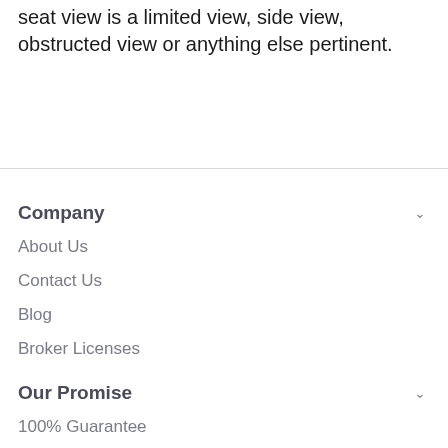seat view is a limited view, side view, obstructed view or anything else pertinent.
Company
About Us
Contact Us
Blog
Broker Licenses
Our Promise
100% Guarantee
User Agreement
Privacy Policy